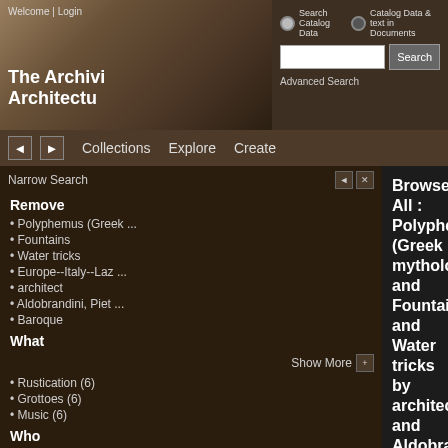Welcome | Login
The Archivi Architectu
Search Catalog Data   Catalog Data & text in Documents
Advanced Search
Collections   Explore   Create
Narrow Search
Remove
Polyphemus (Greek ...
Fountains
Water tricks
Europe--Italy--Laz ...
architect
Aldobrandini, Piet ...
Baroque
What
Show More
Rustication (6)
Grottoes (6)
Music (6)
Who
Maderno, Carlo (6)
patron (6)
Browse All : Polyphemus (Greek mythology) and Fountains and Water tricks by architect and Aldobrandini, Pietro of Europe--Italy--Lazio--Frascati from Baroque
1-6 of 6
[Figure (photo): Interior architectural photo showing baroque statues in niches within an ornate domed or vaulted space with frescoed walls]